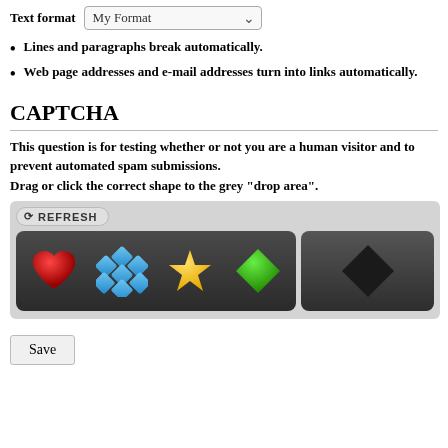Text format  My Format
Lines and paragraphs break automatically.
Web page addresses and e-mail addresses turn into links automatically.
CAPTCHA
This question is for testing whether or not you are a human visitor and to prevent automated spam submissions.
Drag or click the correct shape to the grey "drop area".
[Figure (screenshot): CAPTCHA widget with REFRESH button and a dark panel showing four colored shapes (red heart, blue diamond pattern, yellow star, green diamond) and a separate dark panel showing a black diamond shape (drop area).]
Save